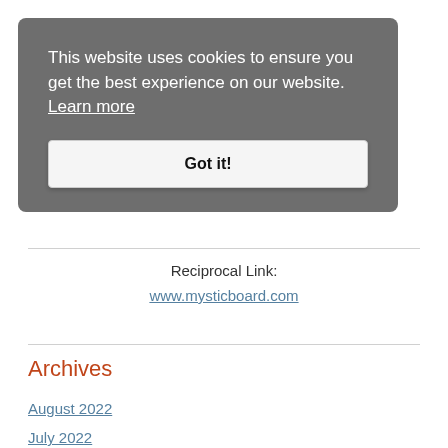This website uses cookies to ensure you get the best experience on our website. Learn more
Got it!
Reciprocal Link:
www.mysticboard.com
Archives
August 2022
July 2022
June 2022
May 2022